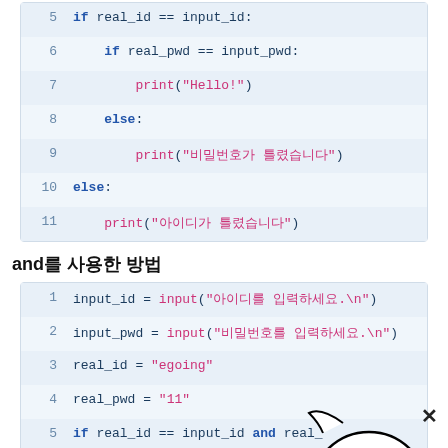[Figure (screenshot): Python code block lines 5-11 showing nested if-else for real_id and real_pwd comparison]
and를 사용한 방법
[Figure (screenshot): Python code block lines 1-8 showing and-based login check with input, real_id, real_pwd]